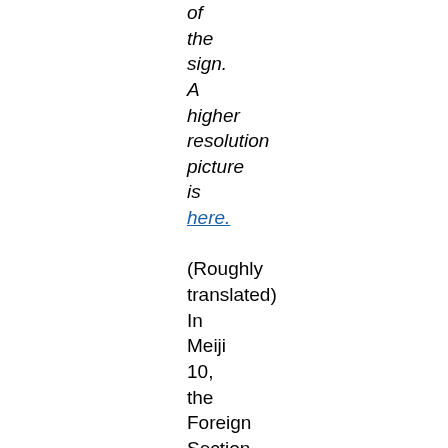of the sign. A higher resolution picture is here. (Roughly translated) In Meiji 10, the Foreign Section was established and